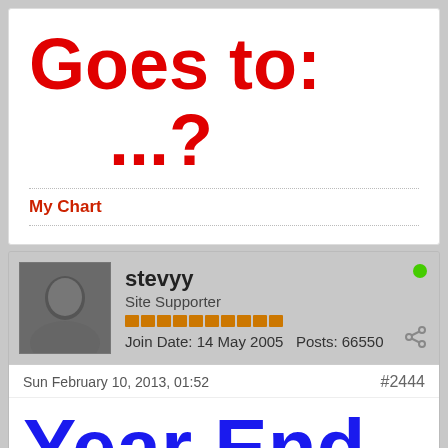Goes to:
...?
My Chart
stevyy
Site Supporter
Join Date: 14 May 2005  Posts: 66550
Sun February 10, 2013, 01:52
#2444
Year End